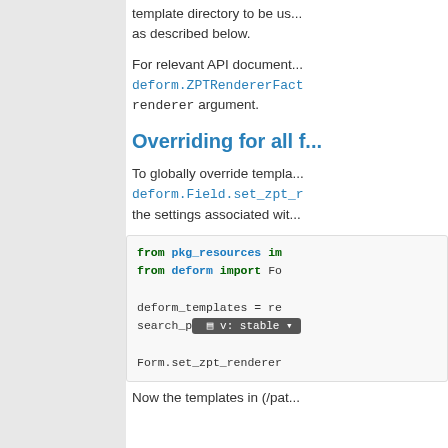template directory to be us... as described below.
For relevant API document... deform.ZPTRendererFact... renderer argument.
Overriding for all f...
To globally override templa... deform.Field.set_zpt_r... the settings associated wit...
from pkg_resources im
from deform import Fo

deform_templates = re
search_path = ('/path

Form.set_zpt_renderer
Now the templates in (/pat...